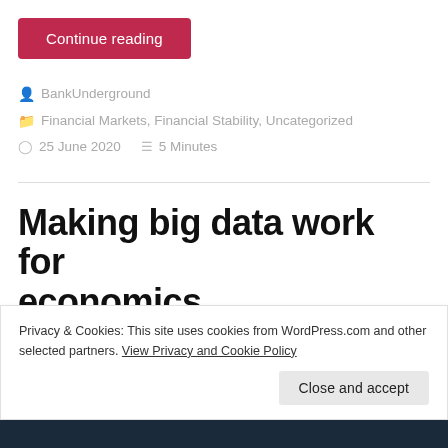Continue reading
BankUnderground
Financial Markets, Financial Stability, Uncategorized
25 June 2020   5 Minutes
Making big data work for economics
Privacy & Cookies: This site uses cookies from WordPress.com and other selected partners. View Privacy and Cookie Policy
Close and accept